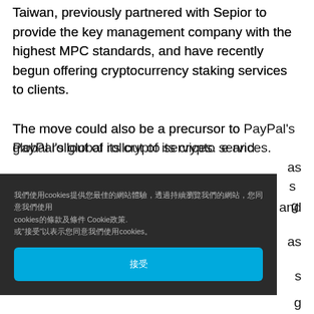Taiwan, previously partnered with Sepior to provide the key management company with the highest MPC standards, and have recently begun offering cryptocurrency staking services to clients.
The move could also be a precursor to PayPal's global rollout of its crypto services. [partially obscured] e and [partially obscured] as [partially obscured] s [partially obscured] g
Cookie consent overlay in Chinese/Japanese characters with accept button